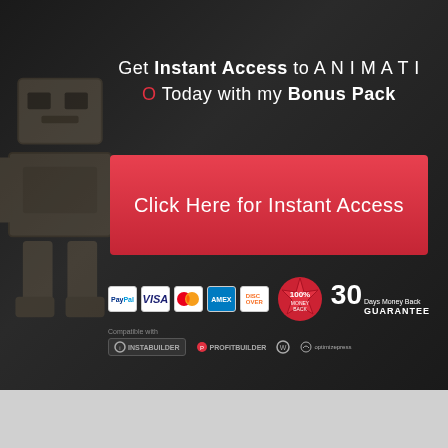Get Instant Access to ANIMATIO Today with my Bonus Pack
Click Here for Instant Access
[Figure (infographic): Payment method icons: PayPal, Visa, Mastercard, AMEX, Discover, 100% guarantee badge, 30 Days Money Back Guarantee text, Compatible with InstaBuilder, ProfitBuilder, WordPress, OptimizePress logos]